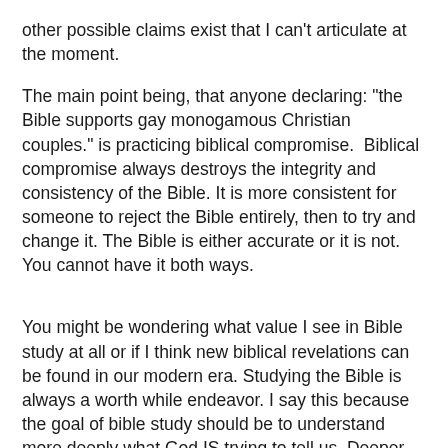other possible claims exist that I can't articulate at the moment.
The main point being, that anyone declaring: "the Bible supports gay monogamous Christian couples." is practicing biblical compromise.  Biblical compromise always destroys the integrity and consistency of the Bible. It is more consistent for someone to reject the Bible entirely, then to try and change it. The Bible is either accurate or it is not. You cannot have it both ways.
You might be wondering what value I see in Bible study at all or if I think new biblical revelations can be found in our modern era. Studying the Bible is always a worth while endeavor. I say this because the goal of bible study should be to understand more deeply what God IS trying to tell us. Deeper understanding is a good thing. Studying the Bible with a goal of finding new conclusions that conflict with previous conclusion is a bad thing. This is not true of all information studies, but it is true of the Bible, because the